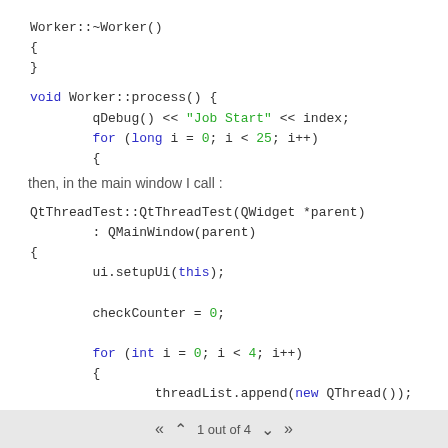Worker::~Worker()
{
}
void Worker::process() {
        qDebug() << "Job Start" << index;
        for (long i = 0; i < 25; i++)
        {
then, in the main window I call :
QtThreadTest::QtThreadTest(QWidget *parent)
        : QMainWindow(parent)
{
        ui.setupUi(this);

        checkCounter = 0;

        for (int i = 0; i < 4; i++)
        {
                threadList.append(new QThread());
1 out of 4